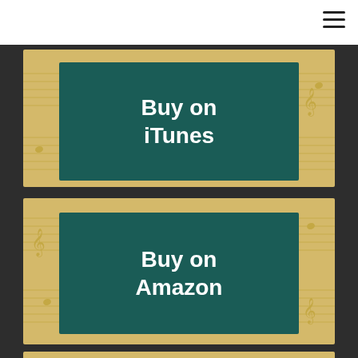[Figure (screenshot): Hamburger menu icon in top right of white navigation bar]
[Figure (illustration): Buy on iTunes button - teal rectangle with white bold text on a golden music sheet background]
[Figure (illustration): Buy on Amazon button - teal rectangle with white bold text on a golden music sheet background]
[Figure (illustration): Partial third card with golden music sheet background, cropped at bottom of page]